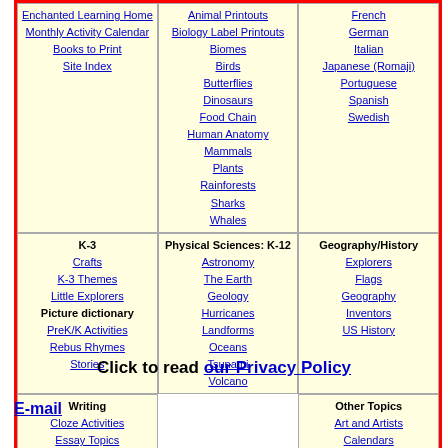Enchanted Learning Home
Monthly Activity Calendar
Books to Print
Site Index
K-3
Crafts
K-3 Themes
Little Explorers
Picture dictionary
PreK/K Activities
Rebus Rhymes
Stories
Animal Printouts
Biology Label Printouts
Biomes
Birds
Butterflies
Dinosaurs
Food Chain
Human Anatomy
Mammals
Plants
Rainforests
Sharks
Whales
French
German
Italian
Japanese (Romaji)
Portuguese
Spanish
Swedish
Writing
Cloze Activities
Essay Topics
Newspaper
Writing Activities
Parts of Speech
Physical Sciences: K-12
Astronomy
The Earth
Geology
Hurricanes
Landforms
Oceans
Tsunami
Volcano
Geography/History
Explorers
Flags
Geography
Inventors
US History
Fiction
The Test of Time
Other Topics
Art and Artists
Calendars
College Finder
Crafts
Graphic Organizers
Label Me! Printouts
Math
Music
Word Wheels
Click to read our Privacy Policy
E-mail